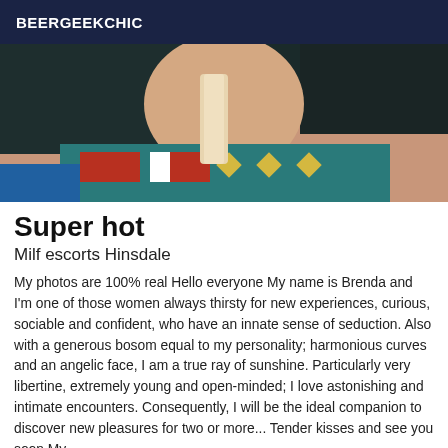BEERGEEKCHIC
[Figure (photo): Cropped close-up photo of a woman wearing a dark bra, with colorful textile/fabric visible in the background featuring teal, red, orange, and yellow geometric patterns.]
Super hot
Milf escorts Hinsdale
My photos are 100% real Hello everyone My name is Brenda and I'm one of those women always thirsty for new experiences, curious, sociable and confident, who have an innate sense of seduction. Also with a generous bosom equal to my personality; harmonious curves and an angelic face, I am a true ray of sunshine. Particularly very libertine, extremely young and open-minded; I love astonishing and intimate encounters. Consequently, I will be the ideal companion to discover new pleasures for two or more... Tender kisses and see you soon My